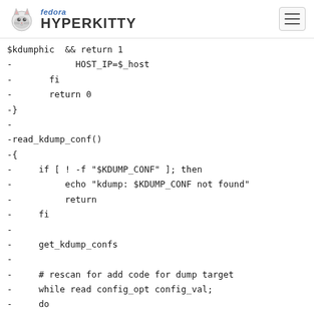fedora HYPERKITTY
$kdumphic  && return 1
-            HOST_IP=$_host
-       fi
-       return 0
-}
-
-read_kdump_conf()
-{
-     if [ ! -f "$KDUMP_CONF" ]; then
-          echo "kdump: $KDUMP_CONF not found"
-          return
-     fi
-
-     get_kdump_confs
-
-     # rescan for add code for dump target
-     while read config_opt config_val;
-     do
-          # remove inline comments after the end of a d
-     case "$config_opt" in